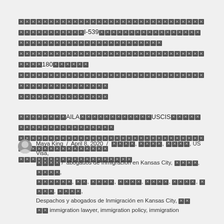[redacted text] I-539 [redacted text] 180 [redacted text]
[redacted] AILA [redacted] USCIS [redacted]
Maya King / April 8, 2020 / [tags] abogados de Inmigración en Kansas City, [tags], Despachos y abogados de Inmigración en Kansas City, immigration lawyer, immigration policy, immigration